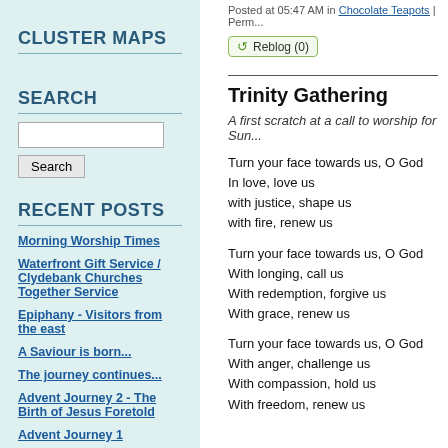CLUSTER MAPS
SEARCH
RECENT POSTS
Morning Worship Times
Waterfront Gift Service / Clydebank Churches Together Service
Epiphany - Visitors from the east
A Saviour is born...
The journey continues...
Advent Journey 2 - The Birth of Jesus Foretold
Advent Journey 1
Posted at 05:47 AM in Chocolate Teapots | Perm...
Trinity Gathering
A first scratch at a call to worship for Sun...
Turn your face towards us, O God
In love, love us
with justice, shape us
with fire, renew us
Turn your face towards us, O God
With longing, call us
With redemption, forgive us
With grace, renew us
Turn your face towards us, O God
With anger, challenge us
With compassion, hold us
With freedom, renew us